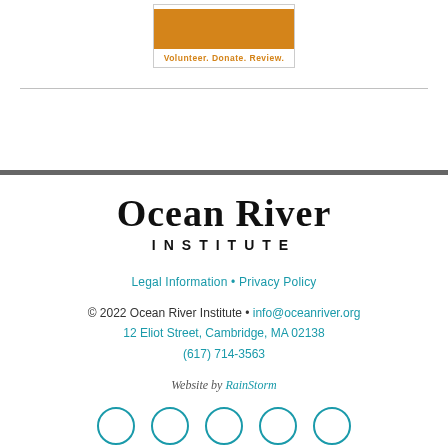[Figure (logo): Orange rectangle box above 'Volunteer. Donate. Review.' text in orange, bordered box]
Volunteer. Donate. Review.
[Figure (logo): Ocean River Institute logo — large serif text 'Ocean River' above spaced caps 'INSTITUTE']
Legal Information • Privacy Policy
© 2022 Ocean River Institute • info@oceanriver.org
12 Eliot Street, Cambridge, MA 02138
(617) 714-3563
Website by RainStorm
[Figure (other): Row of five teal circular social media icons at bottom of page]